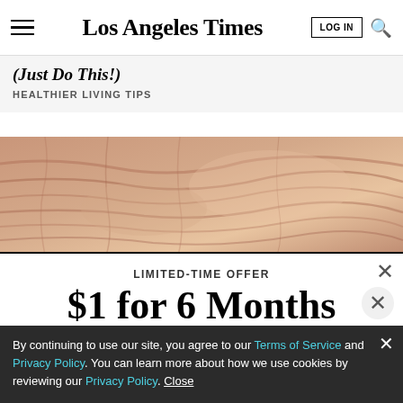Los Angeles Times
(Just Do This!)
HEALTHIER LIVING TIPS
[Figure (photo): Close-up photograph of wrinkled skin texture, pinkish-beige tones]
LIMITED-TIME OFFER
$1 for 6 Months
SUBSCRIBE NOW
By continuing to use our site, you agree to our Terms of Service and Privacy Policy. You can learn more about how we use cookies by reviewing our Privacy Policy. Close